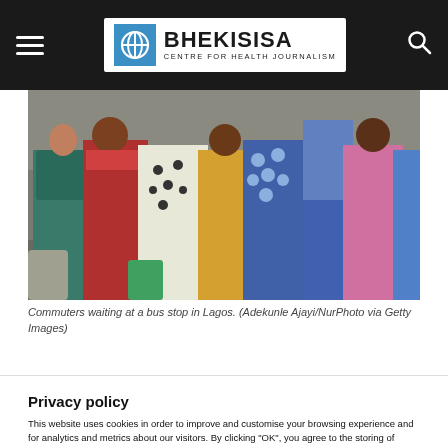BHEKISISA — CENTRE FOR HEALTH JOURNALISM
[Figure (photo): Crowd of commuters in colorful clothing waiting at a bus stop in Lagos, Nigeria. People are seen from behind and side angles wearing traditional African print garments.]
Commuters waiting at a bus stop in Lagos. (Adekunle Ajayi/NurPhoto via Getty Images)
Privacy policy
This website uses cookies in order to improve and customise your browsing experience and for analytics and metrics about our visitors. By clicking "OK", you agree to the storing of cookies on your device. We value your privacy, to find out more about the cookies we use, and data collected, see our Privacy Policy.